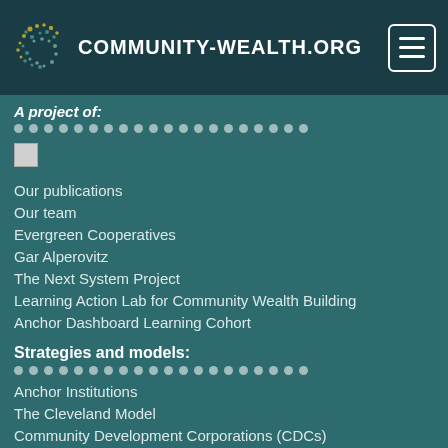COMMUNITY-WEALTH.ORG
A project of:
[Figure (other): Broken/missing image placeholder]
Our publications
Our team
Evergreen Cooperatives
Gar Alperovitz
The Next System Project
Learning Action Lab for Community Wealth Building
Anchor Dashboard Learning Cohort
Strategies and models:
Anchor Institutions
The Cleveland Model
Community Development Corporations (CDCs)